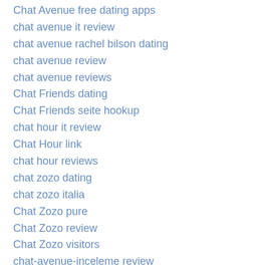Chat Avenue free dating apps
chat avenue it review
chat avenue rachel bilson dating
chat avenue review
chat avenue reviews
Chat Friends dating
Chat Friends seite hookup
chat hour it review
Chat Hour link
chat hour reviews
chat zozo dating
chat zozo italia
Chat Zozo pure
Chat Zozo review
Chat Zozo visitors
chat-avenue-inceleme review
chat-avenue-inceleme visitors
chat-zozo-inceleme visitors